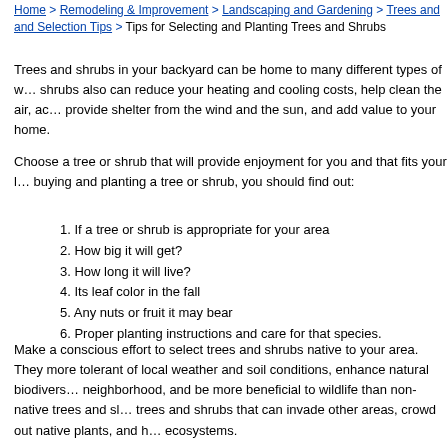Home > Remodeling & Improvement > Landscaping and Gardening > Trees and Selection Tips > Tips for Selecting and Planting Trees and Shrubs
Trees and shrubs in your backyard can be home to many different types of w... shrubs also can reduce your heating and cooling costs, help clean the air, ad... provide shelter from the wind and the sun, and add value to your home.
Choose a tree or shrub that will provide enjoyment for you and that fits your l... buying and planting a tree or shrub, you should find out:
If a tree or shrub is appropriate for your area
How big it will get?
How long it will live?
Its leaf color in the fall
Any nuts or fruit it may bear
Proper planting instructions and care for that species.
Make a conscious effort to select trees and shrubs native to your area. They more tolerant of local weather and soil conditions, enhance natural biodivers... neighborhood, and be more beneficial to wildlife than non-native trees and sh... trees and shrubs that can invade other areas, crowd out native plants, and h... ecosystems.